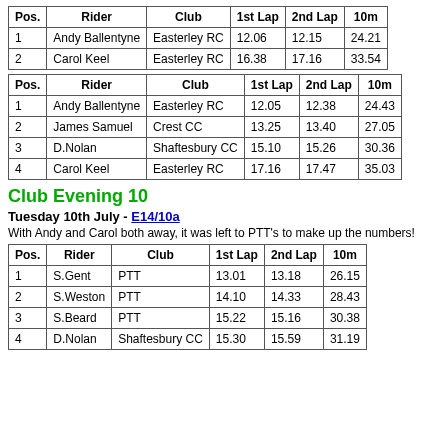| Pos. | Rider | Club | 1st Lap | 2nd Lap | 10m |
| --- | --- | --- | --- | --- | --- |
| 1 | Andy Ballentyne | Easterley RC | 12.06 | 12.15 | 24.21 |
| 2 | Carol Keel | Easterley RC | 16.38 | 17.16 | 33.54 |
| Pos. | Rider | Club | 1st Lap | 2nd Lap | 10m |
| --- | --- | --- | --- | --- | --- |
| 1 | Andy Ballentyne | Easterley RC | 12.05 | 12.38 | 24.43 |
| 2 | James Samuel | Crest CC | 13.25 | 13.40 | 27.05 |
| 3 | D.Nolan | Shaftesbury CC | 15.10 | 15.26 | 30.36 |
| 4 | Carol Keel | Easterley RC | 17.16 | 17.47 | 35.03 |
Club Evening 10
Tuesday 10th July - E14/10a
With Andy and Carol both away, it was left to PTT's to make up the numbers!
| Pos. | Rider | Club | 1st Lap | 2nd Lap | 10m |
| --- | --- | --- | --- | --- | --- |
| 1 | S.Gent | PTT | 13.01 | 13.18 | 26.15 |
| 2 | S.Weston | PTT | 14.10 | 14.33 | 28.43 |
| 3 | S.Beard | PTT | 15.22 | 15.16 | 30.38 |
| 4 | D.Nolan | Shaftesbury CC | 15.30 | 15.59 | 31.19 |